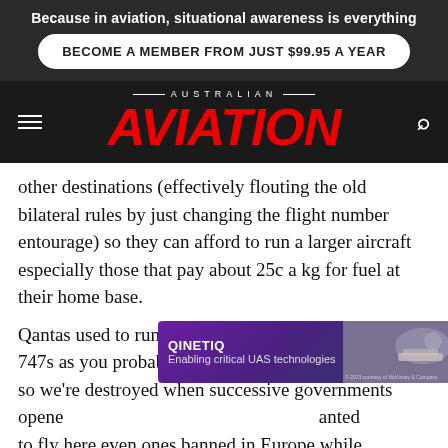Because in aviation, situational awareness is everything
BECOME A MEMBER FROM JUST $99.95 A YEAR
[Figure (logo): Australian Aviation masthead logo with hamburger menu and search icon on dark background]
other destinations (effectively flouting the old bilateral rules by just changing the flight number entourage) so they can afford to run a larger aircraft especially those that pay about 25c a kg for fuel at their home base.
Qantas used to run through services out of Perth with 747s as you probably know... the economics of doing so we're destroyed when successive governments opened                                                                              anted to fly here even ones banned in Europe while
[Figure (screenshot): QinetiQ advertisement overlay: 'Enabling critical UAS technologies' with purple/blue gradient background and drone imagery on right side]